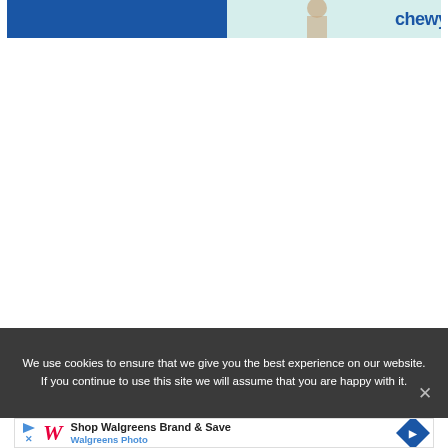[Figure (screenshot): Chewy.com advertisement banner with blue background on left and light teal background on right with Chewy logo and a person with a dog]
We use cookies to ensure that we give you the best experience on our website. If you continue to use this site we will assume that you are happy with it.
[Figure (screenshot): Walgreens advertisement banner: Shop Walgreens Brand & Save, Walgreens Photo, with red italic W logo and blue diamond arrow icon]